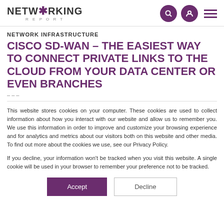NETWORKING REPORT
NETWORK INFRASTRUCTURE
CISCO SD-WAN – THE EASIEST WAY TO CONNECT PRIVATE LINKS TO THE CLOUD FROM YOUR DATA CENTER OR EVEN BRANCHES
This website stores cookies on your computer. These cookies are used to collect information about how you interact with our website and allow us to remember you. We use this information in order to improve and customize your browsing experience and for analytics and metrics about our visitors both on this website and other media. To find out more about the cookies we use, see our Privacy Policy.
If you decline, your information won't be tracked when you visit this website. A single cookie will be used in your browser to remember your preference not to be tracked.
Accept | Decline